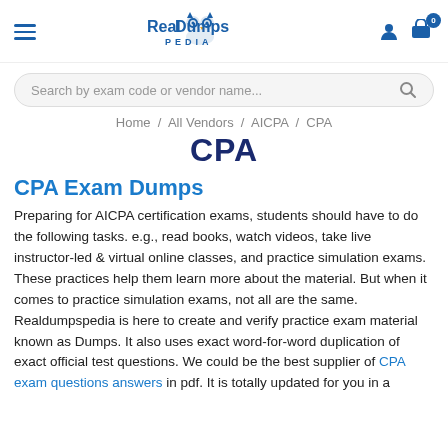RealDumpsPedia — navigation header with hamburger menu, logo, user icon, and cart icon with badge 0
Search by exam code or vendor name...
Home / All Vendors / AICPA / CPA
CPA
CPA Exam Dumps
Preparing for AICPA certification exams, students should have to do the following tasks. e.g., read books, watch videos, take live instructor-led & virtual online classes, and practice simulation exams. These practices help them learn more about the material. But when it comes to practice simulation exams, not all are the same. Realdumpspedia is here to create and verify practice exam material known as Dumps. It also uses exact word-for-word duplication of exact official test questions. We could be the best supplier of CPA exam questions answers in pdf. It is totally updated for you in a